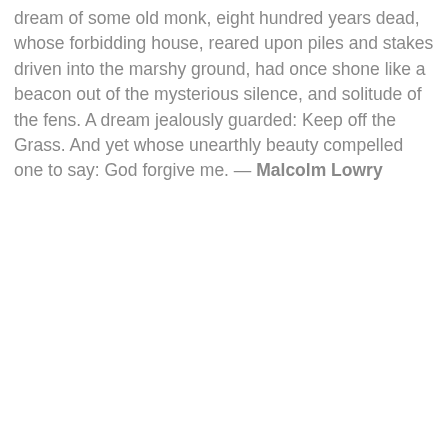dream of some old monk, eight hundred years dead, whose forbidding house, reared upon piles and stakes driven into the marshy ground, had once shone like a beacon out of the mysterious silence, and solitude of the fens. A dream jealously guarded: Keep off the Grass. And yet whose unearthly beauty compelled one to say: God forgive me. — Malcolm Lowry